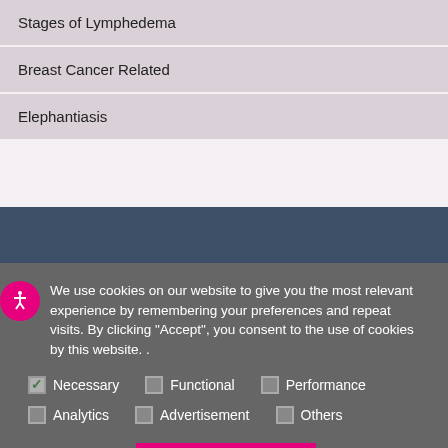| Stages of Lymphedema |
| Breast Cancer Related |
| Elephantiasis |
We use cookies on our website to give you the most relevant experience by remembering your preferences and repeat visits. By clicking “Accept”, you consent to the use of cookies by this website. .
Necessary  Functional  Performance  Analytics  Advertisement  Others
Cookie Settings  Accept Cookies  Accept All Cookies